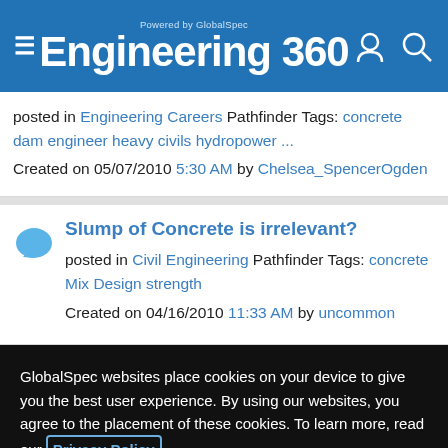Engineering 360 — Powered by GlobalSpec
posted in Engineering Careers Pathfinder Tags: concrete dam engineer heavy civils hydropower ... Created on 05/07/2010 5:30 AM by Chelsea_SpencerOgden
Slump of Concrete is irrelevant?
posted in Civil Engineering Pathfinder Tags: concrete Mix Design strength
Created on 04/16/2010 11:33 AM by uncommon
GlobalSpec websites place cookies on your device to give you the best user experience. By using our websites, you agree to the placement of these cookies. To learn more, read our Privacy Policy
Accept & Close